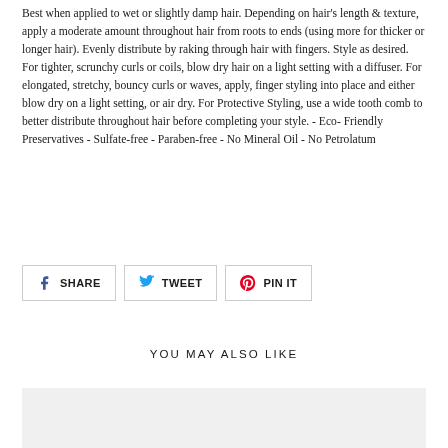Best when applied to wet or slightly damp hair. Depending on hair's length & texture, apply a moderate amount throughout hair from roots to ends (using more for thicker or longer hair). Evenly distribute by raking through hair with fingers. Style as desired. For tighter, scrunchy curls or coils, blow dry hair on a light setting with a diffuser. For elongated, stretchy, bouncy curls or waves, apply, finger styling into place and either blow dry on a light setting, or air dry. For Protective Styling, use a wide tooth comb to better distribute throughout hair before completing your style. - Eco-Friendly Preservatives - Sulfate-free - Paraben-free - No Mineral Oil - No Petrolatum
[Figure (other): Social sharing buttons: Facebook SHARE, Twitter TWEET, Pinterest PIN IT]
YOU MAY ALSO LIKE
[Figure (photo): Product image placeholder (light gray background strip)]